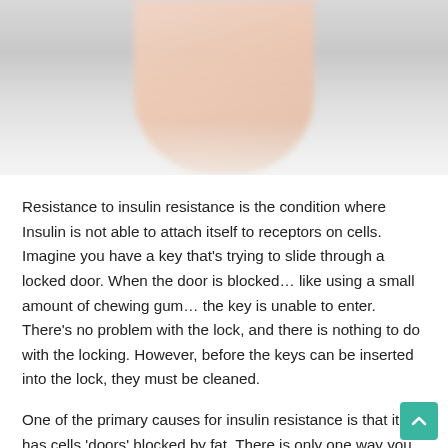[Figure (photo): Close-up photo of a person wearing a white coat/shirt, with a hand raised, blurred background suggesting a medical professional]
Resistance to insulin resistance is the condition where Insulin is not able to attach itself to receptors on cells. Imagine you have a key that's trying to slide through a locked door. When the door is blocked… like using a small amount of chewing gum… the key is unable to enter. There's no problem with the lock, and there is nothing to do with the locking. However, before the keys can be inserted into the lock, they must be cleaned.
One of the primary causes for insulin resistance is that it has cells 'doors' blocked by fat. There is only one way you can open them is to remove any fat possible from your diet